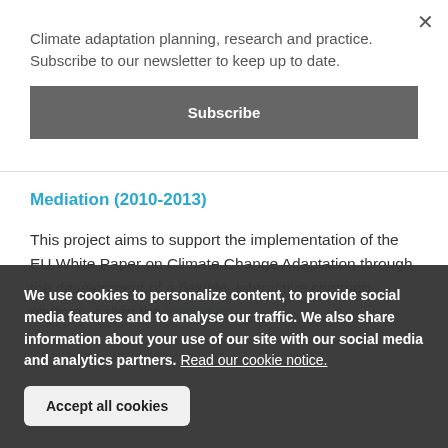Climate adaptation planning, research and practice. Subscribe to our newsletter to keep up to date.
Subscribe
Mediation (2010-2013)
This project aims to support the implementation of the EU White Paper on Climate Change Adaptation through the development of a flexible, interactive common platform, called the Mediation
We use cookies to personalize content, to provide social media features and to analyse our traffic. We also share information about your use of our site with our social media and analytics partners. Read our cookie notice.
Accept all cookies